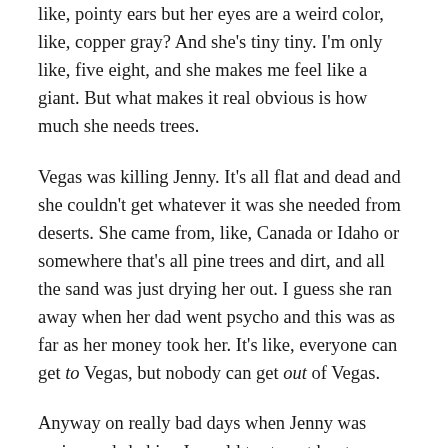like, pointy ears but her eyes are a weird color, like, copper gray? And she's tiny tiny. I'm only like, five eight, and she makes me feel like a giant. But what makes it real obvious is how much she needs trees.
Vegas was killing Jenny. It's all flat and dead and she couldn't get whatever it was she needed from deserts. She came from, like, Canada or Idaho or somewhere that's all pine trees and dirt, and all the sand was just drying her out. I guess she ran away when her dad went psycho and this was as far as her money took her. It's like, everyone can get to Vegas, but nobody can get out of Vegas.
Anyway on really bad days when Jenny was crying and shaking I would try to get her to come with me to one of the Casinos that had an indoor park with real trees and Jenny would sit on a bench and cry, but it would be